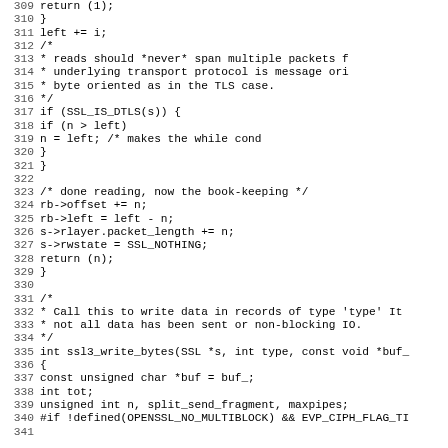Source code listing, lines 309-341, C code (ssl3 read/write bytes)